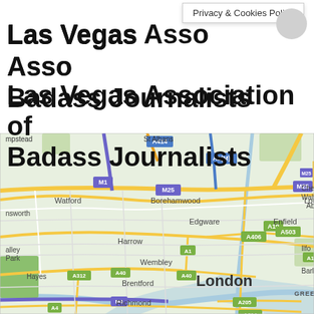Privacy & Cookies Policy
Las Vegas Association of Badass Journalists
[Figure (map): Google Maps view showing London and surrounding areas including Watford, Borehamwood, Edgware, Harrow, Wembley, Brentford, Richmond, Enfield, Cheshunt, Waltham Abbey. Road labels visible: A414, A1(M), M25, M1, A10, A406, A503, A1, A12, A40, A312, M4, A4, A205, A214, A1(M). Place names: mpstead, St Albans, Lough, alley Park, Ilfo, Barl, GREENWICH, London.]